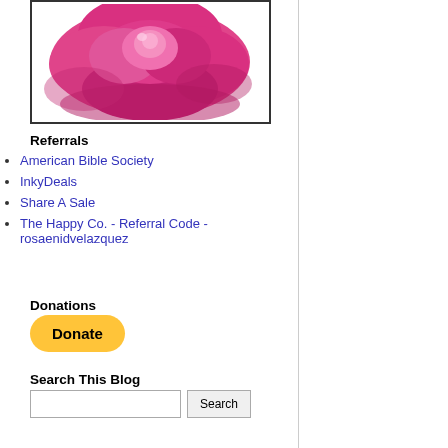[Figure (photo): A pink/magenta rose flower close-up against a white background, framed with a dark border]
Referrals
American Bible Society
InkyDeals
Share A Sale
The Happy Co. - Referral Code - rosaenidvelazquez
Donations
[Figure (other): PayPal Donate button — yellow rounded rectangle with bold text 'Donate']
Search This Blog
[Figure (other): Search input box with a Search button]